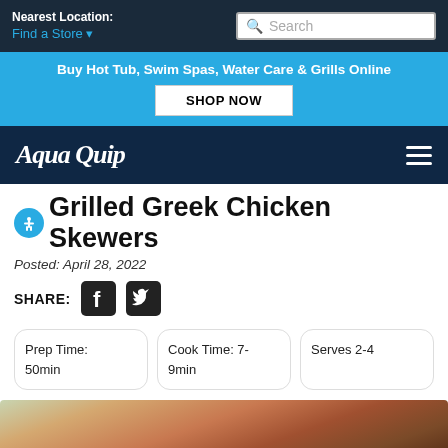Nearest Location: Find a Store
Buy Hot Tub, Swim Spas, Water Care & Grills Online
SHOP NOW
[Figure (logo): AquaQuip logo in white italic text on dark navy background]
Grilled Greek Chicken Skewers
Posted: April 28, 2022
SHARE:
Prep Time: 50min
Cook Time: 7-9min
Serves 2-4
[Figure (photo): Photo of grilled Greek chicken skewers, partially visible at bottom of page]